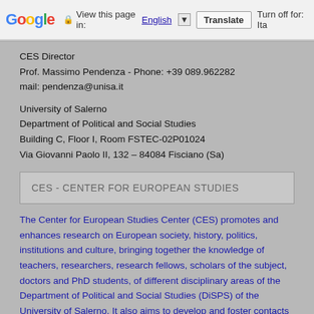View this page in: English [▼] Translate Turn off for: Ita
CES Director
Prof. Massimo Pendenza - Phone: +39 089.962282
mail: pendenza@unisa.it
University of Salerno
Department of Political and Social Studies
Building C, Floor I, Room FSTEC-02P01024
Via Giovanni Paolo II, 132 – 84084 Fisciano (Sa)
CES - CENTER FOR EUROPEAN STUDIES
The Center for European Studies Center (CES) promotes and enhances research on European society, history, politics, institutions and culture, bringing together the knowledge of teachers, researchers, research fellows, scholars of the subject, doctors and PhD students, of different disciplinary areas of the Department of Political and Social Studies (DiSPS) of the University of Salerno. It also aims to develop and foster contacts with institutions, foundations and centers in other national and international universities interested in the issues being researched by the center and to promote the exchange of researchers among them.